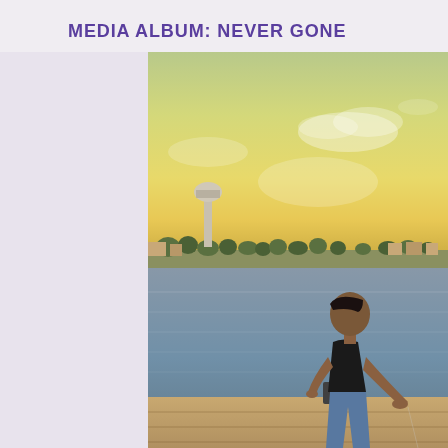MEDIA ALBUM: NEVER GONE
[Figure (photo): A man in a black sleeveless shirt sits on a wooden dock or pier, fishing. He is leaning forward looking down at a fishing line. In the background is a body of water (bay or lake), a sandy shoreline with trees and buildings, and a water tower visible on the left. The sky has a warm golden-yellow hue suggesting late afternoon or sunset. The photo has a vintage warm color filter applied.]